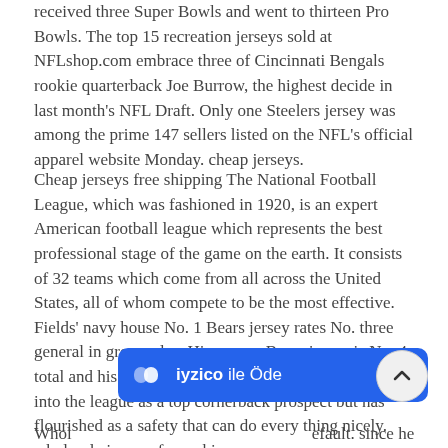received three Super Bowls and went to thirteen Pro Bowls. The top 15 recreation jerseys sold at NFLshop.com embrace three of Cincinnati Bengals rookie quarterback Joe Burrow, the highest decide in last month's NFL Draft. Only one Steelers jersey was among the prime 147 sellers listed on the NFL's official apparel website Monday. cheap jerseys.
Cheap jerseys free shipping The National Football League, which was fashioned in 1920, is an expert American football league which represents the best professional stage of the game on the earth. It consists of 32 teams which come from all across the United States, all of whom compete to be the most effective. Fields' navy house No. 1 Bears jersey rates No. three general in gross sales. His orange Bears jersey is No. 4 total and his white jersey is No. 5. McCourty got here into the league as a top cornerback prospect but has flourished as a safety that can do every thing nicely. wholesale jerseys from china.
Whol... ...efault. since he
[Figure (other): iyzico ile Öde payment button overlay (blue rounded rectangle with iyzico logo and text)]